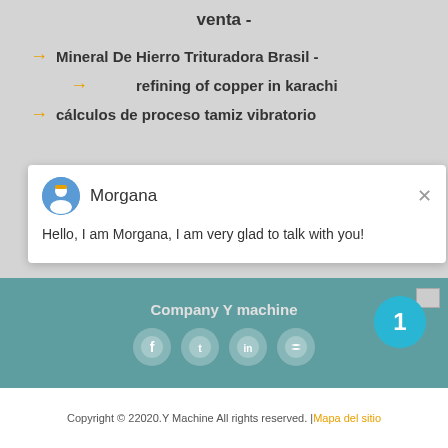venta -
Mineral De Hierro Trituradora Brasil -
refining of copper in karachi
cálculos de proceso tamiz vibratorio
[Figure (screenshot): Chat popup with avatar of Morgana and message: Hello, I am Morgana, I am very glad to talk with you!]
Company Y machine
[Figure (infographic): Social media icons: Facebook, Twitter, LinkedIn, RSS]
Copyright © 22020.Y Machine All rights reserved. | Mapa del sitio